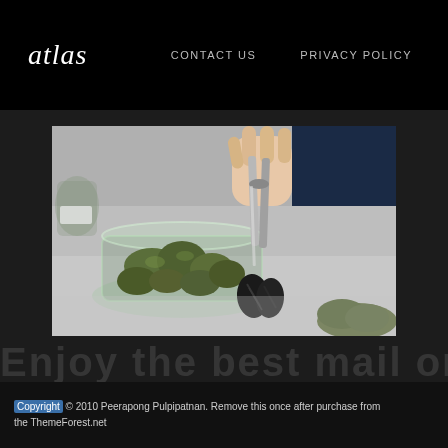Atlas   CONTACT US   PRIVACY POLICY
[Figure (photo): Close-up photo of a person holding metal tongs over a glass jar filled with cannabis buds, with another partial jar and plant material visible in the foreground and background.]
Copyright © 2010 Peerapong Pulpipatnan. Remove this once after purchase from the ThemeForest.net